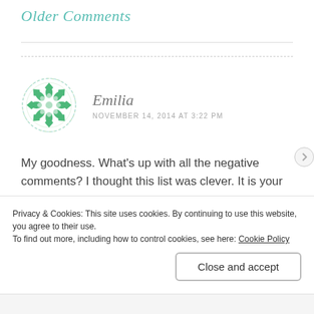Older Comments
[Figure (illustration): Round avatar icon with green geometric flower/mandala pattern on white background, dashed circular border]
Emilia
NOVEMBER 14, 2014 AT 3:22 PM
My goodness. What’s up with all the negative comments? I thought this list was clever. It is your perception so I don’t understand why people are leaving unnecessary comments. If they couldn’t tell that this was made
Privacy & Cookies: This site uses cookies. By continuing to use this website, you agree to their use.
To find out more, including how to control cookies, see here: Cookie Policy
Close and accept